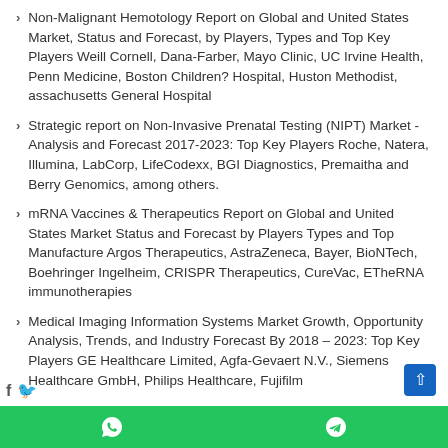Non-Malignant Hemotology Report on Global and United States Market, Status and Forecast, by Players, Types and Top Key Players Weill Cornell, Dana-Farber, Mayo Clinic, UC Irvine Health, Penn Medicine, Boston Children? Hospital, Huston Methodist, assachusetts General Hospital
Strategic report on Non-Invasive Prenatal Testing (NIPT) Market -Analysis and Forecast 2017-2023: Top Key Players Roche, Natera, Illumina, LabCorp, LifeCodexx, BGI Diagnostics, Premaitha and Berry Genomics, among others.
mRNA Vaccines & Therapeutics Report on Global and United States Market Status and Forecast by Players Types and Top Manufacture Argos Therapeutics, AstraZeneca, Bayer, BioNTech, Boehringer Ingelheim, CRISPR Therapeutics, CureVac, ETheRNA immunotherapies
Medical Imaging Information Systems Market Growth, Opportunity Analysis, Trends, and Industry Forecast By 2018 – 2023: Top Key Players GE Healthcare Limited, Agfa-Gevaert N.V., Siemens Healthcare GmbH, Philips Healthcare, Fujifilm
WhatsApp | Telegram